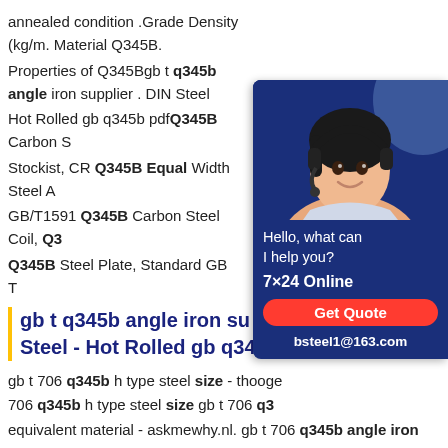annealed condition .Grade Density (kg/m. Material Q345B. Properties of Q345Bgb t q345b angle iron supplier . DIN Steel Hot Rolled gb q345b pdfQ345B Carbon S Stockist, CR Q345B Equal Width Steel A GB/T1591 Q345B Carbon Steel Coil, Q3 Q345B Steel Plate, Standard GB T
[Figure (photo): Customer service representative with headset, chat widget with 'Hello, what can I help you?', '7×24 Online', 'Get Quote' button, and 'bsteel1@163.com']
gb t q345b angle iron su Steel - Hot Rolled gb q34
gb t 706 q345b h type steel size - thooge 706 q345b h type steel size gb t 706 q3 equivalent material - askmewhy.nl. gb t 706 q345b angle iron equivalent material gb t 706 q345b angle iron equivalent material STEEL supply shipbuilding steel plate,gb t 706 q345b angle iron equivalent material,alloy steel,pressure vessel steel,corten A/B,High strength steel gb q345b pdfgb t 706 q345b channel steel